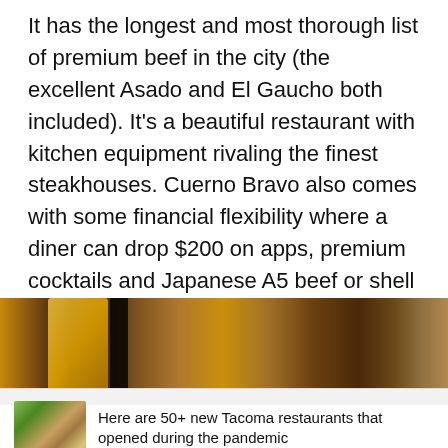It has the longest and most thorough list of premium beef in the city (the excellent Asado and El Gaucho both included). It’s a beautiful restaurant with kitchen equipment rivaling the finest steakhouses. Cuerno Bravo also comes with some financial flexibility where a diner can drop $200 on apps, premium cocktails and Japanese A5 beef or shell out $25 for a platter of Wagyu carne asada built for sharing.
[Figure (photo): Restaurant interior photo showing kitchen equipment and warm lighting]
Related Stories
[Figure (photo): Food photo thumbnail showing tacos]
Here are 50+ new Tacoma restaurants that opened during the pandemic